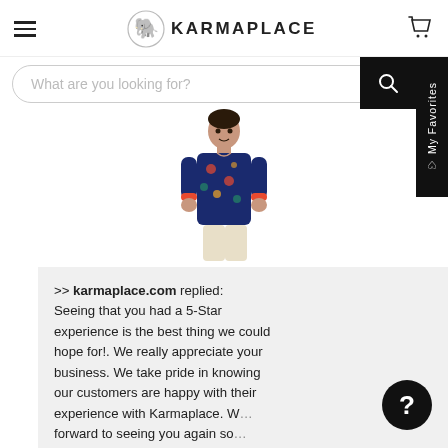KARMAPLACE
What are you looking for?
[Figure (photo): A young boy wearing a blue floral print kurta, smiling, standing in a product photo pose.]
>> karmaplace.com replied: Seeing that you had a 5-Star experience is the best thing we could hope for!. We really appreciate your business. We take pride in knowing our customers are happy with their experience with Karmaplace. W... forward to seeing you again so... Best Wishes